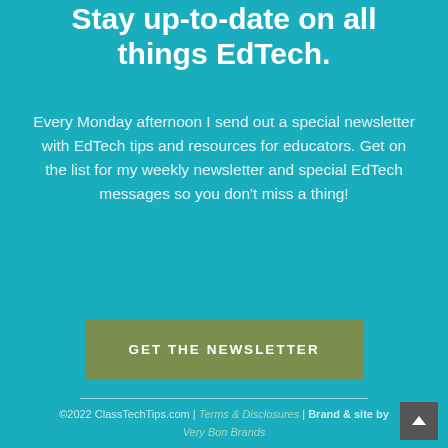Stay up-to-date on all things EdTech.
Every Monday afternoon I send out a special newsletter with EdTech tips and resources for educators. Get on the list for my weekly newsletter and special EdTech messages so you don't miss a thing!
GET THE NEWSLETTER
©2022 ClassTechTips.com | Terms & Disclosures | Brand & site by Very Bon Brands